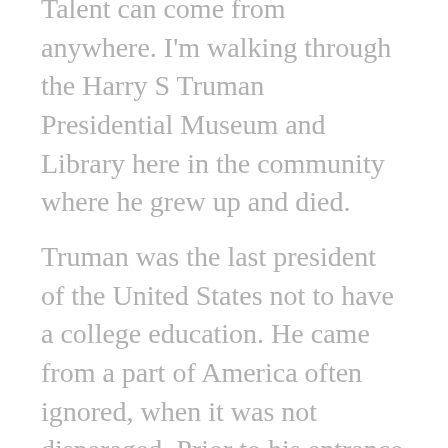Talent can come from anywhere. I'm walking through the Harry S Truman Presidential Museum and Library here in the community where he grew up and died.
Truman was the last president of the United States not to have a college education. He came from a part of America often ignored, when it was not disparaged. Prior to his entrance into politics, he had failed at one business after another.
The president who preceded him in the White House was the patrician Franklin Delano Roosevelt, a Harvard-educated New Yorker whose self-assurance and composure never seemed to falter or flag. Roosevelt could